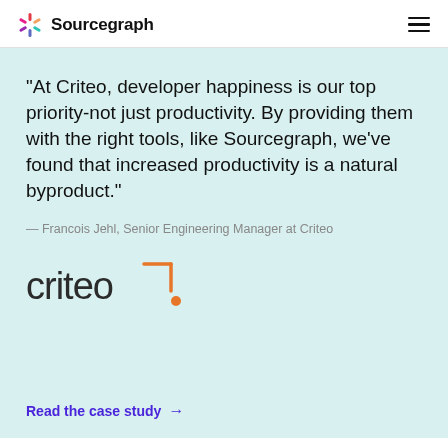Sourcegraph
“At Criteo, developer happiness is our top priority-not just productivity. By providing them with the right tools, like Sourcegraph, we've found that increased productivity is a natural byproduct.”
— Francois Jehl, Senior Engineering Manager at Criteo
[Figure (logo): Criteo logo in dark grey and orange]
Read the case study →